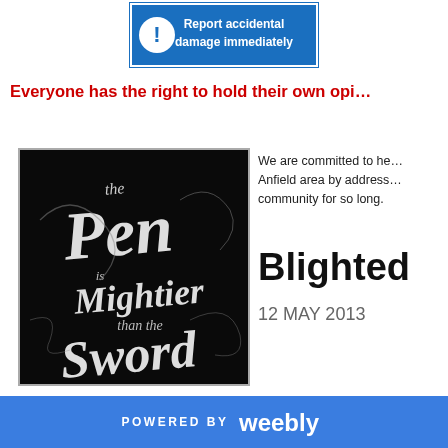[Figure (illustration): Safety sign with blue background and exclamation mark icon reading 'Report accidental damage immediately']
Everyone has the right to hold their own opi…
[Figure (photo): Decorative calligraphy artwork on black background reading 'the Pen is Mightier than the Sword']
We are committed to he… Anfield area by address… community for so long.
Blighted
12 MAY 2013
POWERED BY weebly